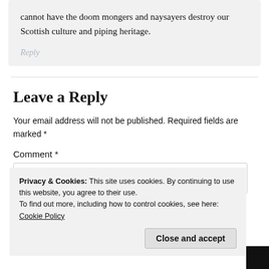cannot have the doom mongers and naysayers destroy our Scottish culture and piping heritage.
Reply
Leave a Reply
Your email address will not be published. Required fields are marked *
Comment *
Privacy & Cookies: This site uses cookies. By continuing to use this website, you agree to their use.
To find out more, including how to control cookies, see here: Cookie Policy
Close and accept